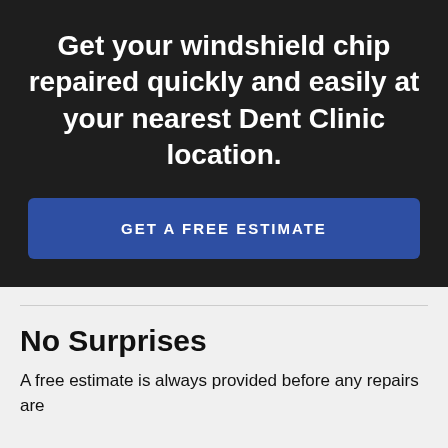Get your windshield chip repaired quickly and easily at your nearest Dent Clinic location.
GET A FREE ESTIMATE
No Surprises
A free estimate is always provided before any repairs are started.